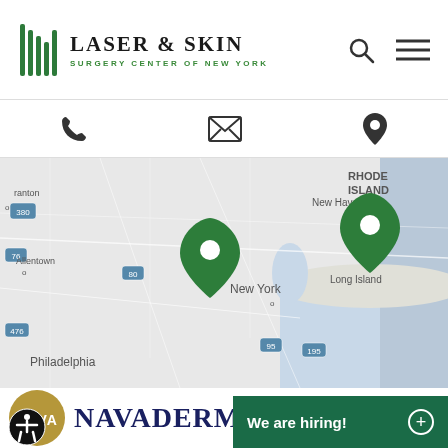Laser & Skin Surgery Center of New York
[Figure (map): Map showing New York metro area with two green location pins — one over Manhattan/New York City and one over Long Island/eastern area. Surrounding cities shown include New Haven, Philadelphia, Allentown, with Rhode Island visible at top right. Road numbers visible: 380, 76, 80, 78, 476, 95, 195, 95.]
[Figure (logo): Navaderm logo — gold circle with NAVA text in white, followed by NAVADERM in large dark navy blue serif letters with trademark symbol]
We are hiring!